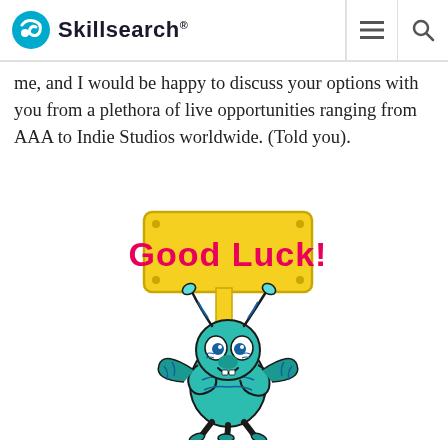Skillsearch®
me, and I would be happy to discuss your options with you from a plethora of live opportunities ranging from AAA to Indie Studios worldwide. (Told you).
[Figure (illustration): Cartoon teal/turquoise bug mascot holding a yellow sign that reads 'Good Luck!' in pink/magenta bold text. The mascot has blue-striped antennae, blue eyes, and a smiling expression.]